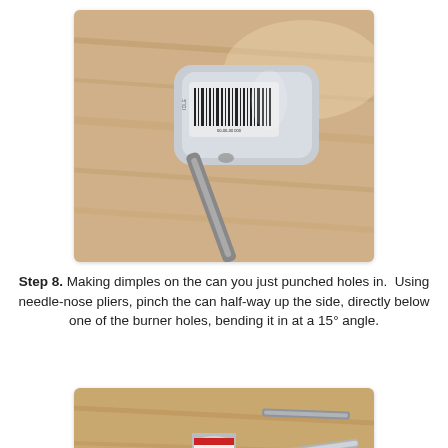[Figure (photo): Close-up photo of needle-nose pliers pinching a small aluminum can on a wood surface, showing a barcode on the can.]
Step 8. Making dimples on the can you just punched holes in.  Using needle-nose pliers, pinch the can half-way up the side, directly below one of the burner holes, bending it in at a 15° angle.
[Figure (photo): Photo showing small aluminum can, a pocket knife, and tools laid out on a wooden surface.]